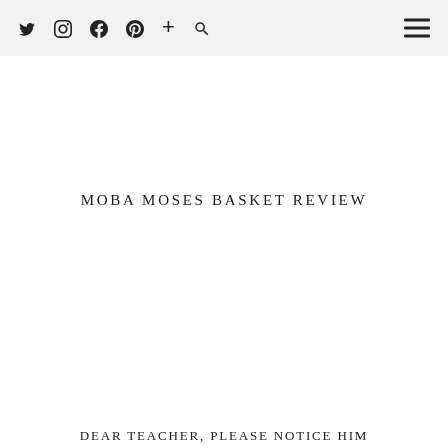Twitter Instagram Facebook Pinterest Add Search Menu
MOBA MOSES BASKET REVIEW
DEAR TEACHER, PLEASE NOTICE HIM